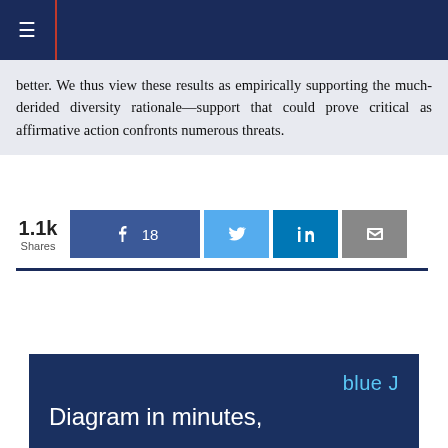Navigation bar
better. We thus view these results as empirically supporting the much-derided diversity rationale—support that could prove critical as affirmative action confronts numerous threats.
[Figure (infographic): Social share bar showing 1.1k Shares, Facebook button with 18 shares, Twitter button, LinkedIn button, and email button]
[Figure (infographic): Blue J advertisement banner with blue J logo and headline 'Diagram in minutes,']